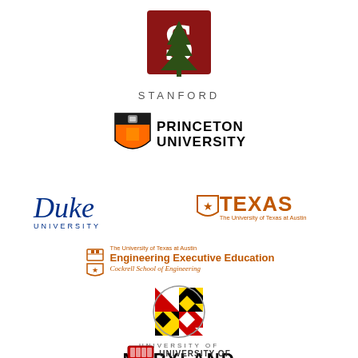[Figure (logo): Stanford University logo with cardinal S and tree, text STANFORD below]
[Figure (logo): Princeton University shield logo with PRINCETON UNIVERSITY text]
[Figure (logo): Duke University wordmark in dark blue with UNIVERSITY below]
[Figure (logo): University of Texas at Austin TEXAS logo with longhorn shield]
[Figure (logo): UT Austin Engineering Executive Education, Cockrell School of Engineering logo]
[Figure (logo): University of Maryland circular seal logo with UNIVERSITY OF MARYLAND text]
[Figure (logo): Partially visible university logo at bottom of page with UNIVERSITY OF text]